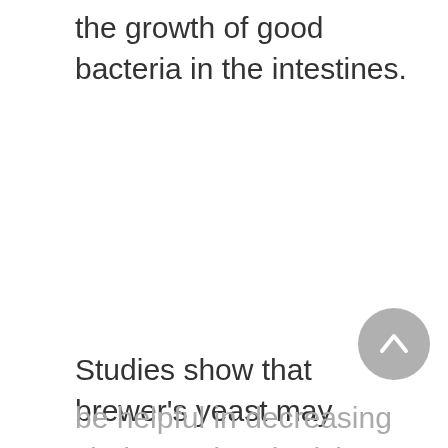the growth of good bacteria in the intestines.
Studies show that brewer's yeast may
be helpful in decreasing cholesterol and raising HDL levels (the good